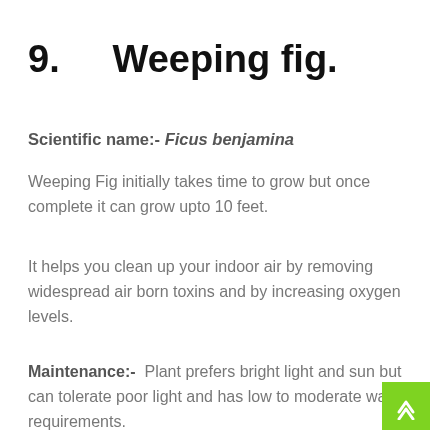9.    Weeping fig.
Scientific name:- Ficus benjamina
Weeping Fig initially takes time to grow but once complete it can grow upto 10 feet.
It helps you clean up your indoor air by removing widespread air born toxins and by increasing oxygen levels.
Maintenance:- Plant prefers bright light and sun but can tolerate poor light and has low to moderate water requirements.